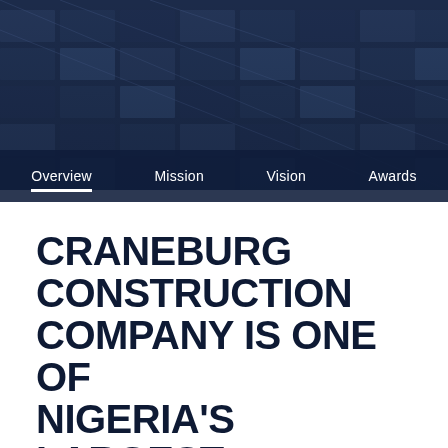[Figure (photo): Dark blue building facade with grid-like window pattern, serving as hero image background]
Overview  Mission  Vision  Awards
CRANEBURG CONSTRUCTION COMPANY IS ONE OF NIGERIA'S LARGEST
Craneburg Construction Company is one of Nigeria's largest, most diversified private construction groups.
Our reputation as a highly responsive, client-focused